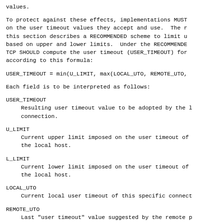values.
To protect against these effects, implementations MUST on the user timeout values they accept and use.  The r this section describes a RECOMMENDED scheme to limit u based on upper and lower limits.  Under the RECOMMENDE TCP SHOULD compute the user timeout (USER_TIMEOUT) for according to this formula:
Each field is to be interpreted as follows:
USER_TIMEOUT
Resulting user timeout value to be adopted by the l connection.
U_LIMIT
Current upper limit imposed on the user timeout of the local host.
L_LIMIT
Current lower limit imposed on the user timeout of the local host.
LOCAL_UTO
Current local user timeout of this specific connect
REMOTE_UTO
Last "user timeout" value suggested by the remote p